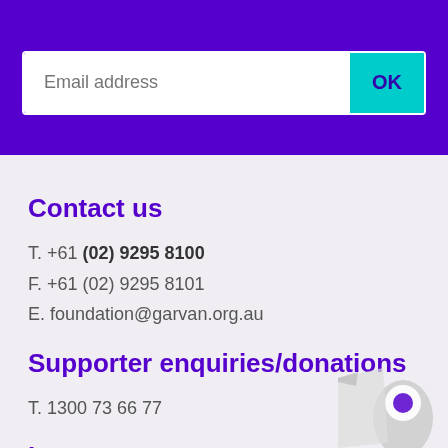[Figure (other): Email address input field with OK button on purple background]
Contact us
T. +61 (02) 9295 8100
F. +61 (02) 9295 8101
E. foundation@garvan.org.au
Supporter enquiries/donations
T. 1300 73 66 77
Locate us
[Figure (illustration): Map location pin icon partially visible at bottom right]